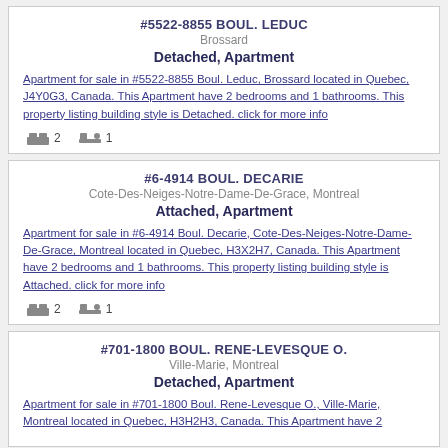#5522-8855 BOUL. LEDUC
Brossard
Detached, Apartment
Apartment for sale in #5522-8855 Boul. Leduc, Brossard located in Quebec, J4Y0G3, Canada. This Apartment have 2 bedrooms and 1 bathrooms. This property listing building style is Detached. click for more info
2 bedrooms, 1 bathroom
#6-4914 BOUL. DECARIE
Cote-Des-Neiges-Notre-Dame-De-Grace, Montreal
Attached, Apartment
Apartment for sale in #6-4914 Boul. Decarie, Cote-Des-Neiges-Notre-Dame-De-Grace, Montreal located in Quebec, H3X2H7, Canada. This Apartment have 2 bedrooms and 1 bathrooms. This property listing building style is Attached. click for more info
2 bedrooms, 1 bathroom
#701-1800 BOUL. RENE-LEVESQUE O.
Ville-Marie, Montreal
Detached, Apartment
Apartment for sale in #701-1800 Boul. Rene-Levesque O., Ville-Marie, Montreal located in Quebec, H3H2H3, Canada. This Apartment have 2